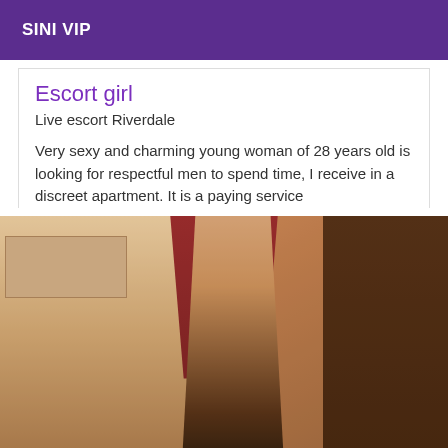SINI VIP
Escort girl
Live escort Riverdale
Very sexy and charming young woman of 28 years old is looking for respectful men to spend time, I receive in a discreet apartment. It is a paying service
[Figure (photo): A young blonde woman in an apartment/kitchen setting]